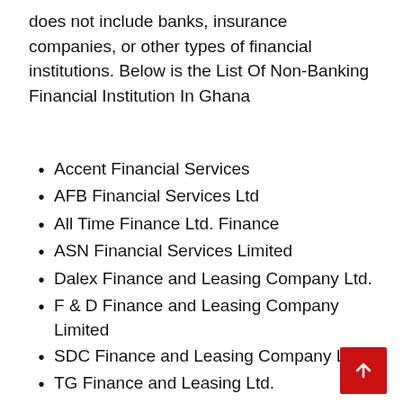does not include banks, insurance companies, or other types of financial institutions. Below is the List Of Non-Banking Financial Institution In Ghana
Accent Financial Services
AFB Financial Services Ltd
All Time Finance Ltd. Finance
ASN Financial Services Limited
Dalex Finance and Leasing Company Ltd.
F & D Finance and Leasing Company Limited
SDC Finance and Leasing Company Ltd.
TG Finance and Leasing Ltd.
NorthStar Home Finance Company Limited
Blue Financial Services Ghana Ltd.
Chrisline Financial Services Ltd.
Crest Finance House Limited